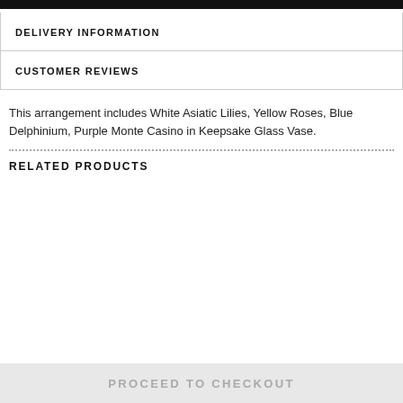DELIVERY INFORMATION
CUSTOMER REVIEWS
This arrangement includes White Asiatic Lilies, Yellow Roses, Blue Delphinium, Purple Monte Casino in Keepsake Glass Vase.
RELATED PRODUCTS
PROCEED TO CHECKOUT